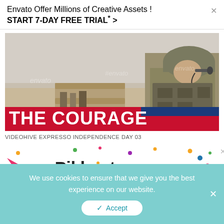Envato Offer Millions of Creative Assets !
START 7-DAY FREE TRIAL* >
[Figure (screenshot): Video thumbnail showing a military soldier in combat gear with a desert background and the text 'THE COURAGE' overlaid at the bottom with a red and blue banner]
VIDEOHIVE EXPRESSO INDEPENDENCE DAY 03
[Figure (logo): Pikbest advertisement banner with colorful confetti dots, a pink arrow/chevron logo on the left, 'Pikbest' in bold black text, and 'Free After Effects Templates' subtitle]
We use cookies to ensure that we give you the best experience on our website.
✓ Accept